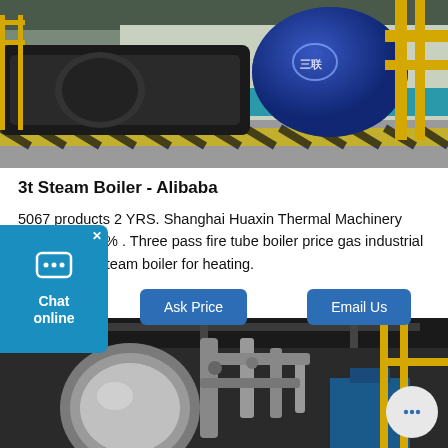[Figure (photo): Industrial steam boiler in a factory facility. A large blue cylindrical boiler with a logo is visible. Yellow pipes and railings are present. The floor has yellow-black hazard striping.]
3t Steam Boiler - Alibaba
5067 products 2 YRS. Shanghai Huaxin Thermal Machinery Co., Ltd. 66.7% . Three pass fire tube boiler price gas industrial boiler 3t / hr steam boiler for heating.
[Figure (screenshot): Ask Price and Email Us buttons on a white background]
[Figure (photo): Industrial boiler room interior showing large pipes, metal industrial equipment, and overhead structure in a warehouse setting.]